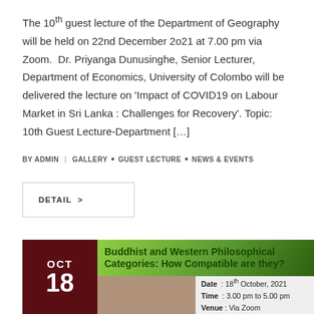The 10th guest lecture of the Department of Geography will be held on 22nd December 2o21 at 7.00 pm via Zoom. Dr. Priyanga Dunusinghe, Senior Lecturer, Department of Economics, University of Colombo will be delivered the lecture on 'Impact of COVID19 on Labour Market in Sri Lanka : Challenges for Recovery'. Topic: 10th Guest Lecture-Department […]
BY ADMIN | GALLERY . GUEST LECTURE . NEWS & EVENTS
DETAIL >
[Figure (infographic): Event card for 'Buddhist and Western Philosophical Categories: How Compatible are they?' dated OCT 18, with date 18th October 2021, time 3.00 pm to 5.00 pm, venue Via Zoom.]